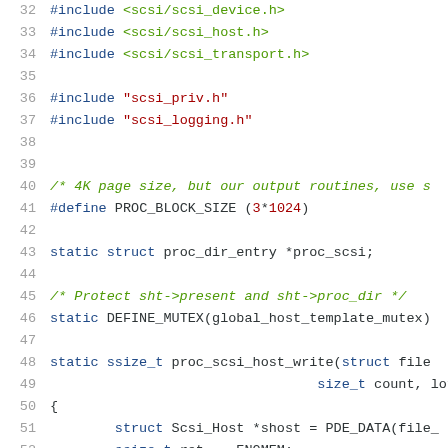32  #include <scsi/scsi_device.h>
33  #include <scsi/scsi_host.h>
34  #include <scsi/scsi_transport.h>
35
36  #include "scsi_priv.h"
37  #include "scsi_logging.h"
38
39
40  /* 4K page size, but our output routines, use s...
41  #define PROC_BLOCK_SIZE (3*1024)
42
43  static struct proc_dir_entry *proc_scsi;
44
45  /* Protect sht->present and sht->proc_dir */
46  static DEFINE_MUTEX(global_host_template_mutex)
47
48  static ssize_t proc_scsi_host_write(struct file...
49                                      size_t count, loff_t
50  {
51      struct Scsi_Host *shost = PDE_DATA(file...
52      ssize_t ret = -ENOMEM;